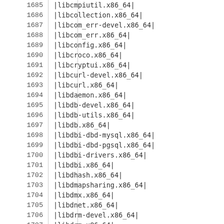| # | package |
| --- | --- |
| 1685 | |libcmpiutil.x86_64| |
| 1686 | |libcollection.x86_64| |
| 1687 | |libcom_err-devel.x86_64| |
| 1688 | |libcom_err.x86_64| |
| 1689 | |libconfig.x86_64| |
| 1690 | |libcroco.x86_64| |
| 1691 | |libcryptui.x86_64| |
| 1692 | |libcurl-devel.x86_64| |
| 1693 | |libcurl.x86_64| |
| 1694 | |libdaemon.x86_64| |
| 1695 | |libdb-devel.x86_64| |
| 1696 | |libdb-utils.x86_64| |
| 1697 | |libdb.x86_64| |
| 1698 | |libdbi-dbd-mysql.x86_64| |
| 1699 | |libdbi-dbd-pgsql.x86_64| |
| 1700 | |libdbi-drivers.x86_64| |
| 1701 | |libdbi.x86_64| |
| 1702 | |libdhash.x86_64| |
| 1703 | |libdmapsharing.x86_64| |
| 1704 | |libdmx.x86_64| |
| 1705 | |libdnet.x86_64| |
| 1706 | |libdrm-devel.x86_64| |
| 1707 | |libdrm.x86_64| |
| 1708 | |libdv.x86_64| |